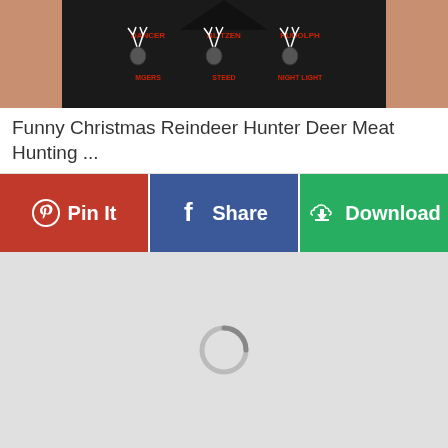[Figure (photo): A person wearing a black tank top with reindeer hunting graphics showing deer head silhouettes with names like DANCER, BLITZEN, RUDOLPH and labels like NIGHT LIGHT]
Funny Christmas Reindeer Hunter Deer Meat Hunting ...
[Figure (screenshot): Action buttons row: Pin It (red), Share (blue/Facebook), Download (green) with icons]
[Figure (photo): Loading placeholder area with a spinning loader icon on light grey background]